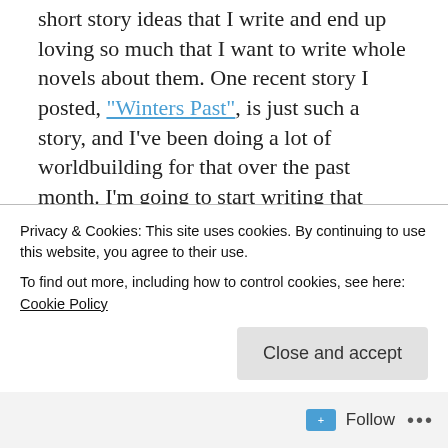short story ideas that I write and end up loving so much that I want to write whole novels about them. One recent story I posted, "Winters Past", is just such a story, and I've been doing a lot of worldbuilding for that over the past month. I'm going to start writing that novel this summer, after I'm done with AFC and have that out to my alphas. The working title for that is Sand and Snow, but that's obviously going to change because it's terrible. It's a standalone for now, but expect more to be written in that world, whether it's short stories or novellas or novels or..well, lots
Privacy & Cookies: This site uses cookies. By continuing to use this website, you agree to their use.
To find out more, including how to control cookies, see here: Cookie Policy
Close and accept
Follow ...